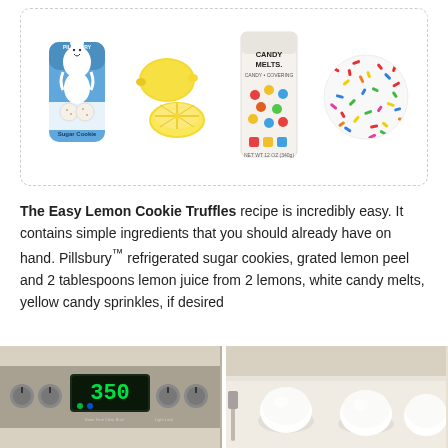[Figure (photo): Four ingredient photos in a dashed-border box: Pillsbury sugar cookie package, two lemon halves, Candy Melts bag, and colorful sprinkles circle]
The Easy Lemon Cookie Truffles recipe is incredibly easy. It contains simple ingredients that you should already have on hand. Pillsbury™ refrigerated sugar cookies, grated lemon peel and 2 tablespoons lemon juice from 2 lemons, white candy melts, yellow candy sprinkles, if desired
[Figure (photo): Two side-by-side photos: left shows an oven display set to 350 degrees, right shows white cookie dough balls on a baking sheet]